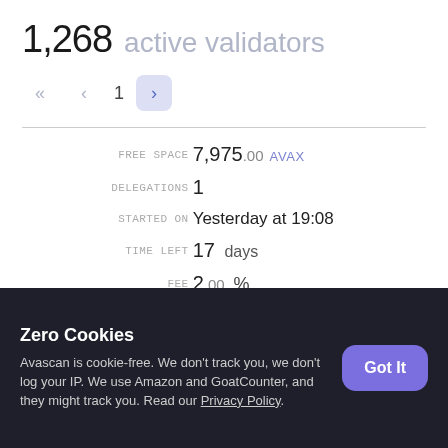1,268 active validators
Pagination: << < 1 >
| FIELD | VALUE |
| --- | --- |
| FREE SPACE | 7,975.00 AVAX |
| DELEGATIONS | 1 |
| STARTED ON | Yesterday at 19:08 |
| TIME LEFT | 17 days |
| FEE | 2.00 % |
| MAX YIELD | 0.34 % |
[Figure (other): Green status indicator dot]
Zero Cookies
Avascan is cookie-free. We don't track you, we don't log your IP. We use Amazon and GoatCounter, and they might track you. Read our Privacy Policy.
Got It